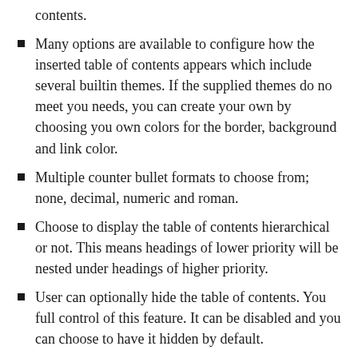contents.
Many options are available to configure how the inserted table of contents appears which include several builtin themes. If the supplied themes do no meet you needs, you can create your own by choosing you own colors for the border, background and link color.
Multiple counter bullet formats to choose from; none, decimal, numeric and roman.
Choose to display the table of contents hierarchical or not. This means headings of lower priority will be nested under headings of higher priority.
User can optionally hide the table of contents. You full control of this feature. It can be disabled and you can choose to have it hidden by default.
Supports smooth scrolling.
Selectively enable or disabled the table of contents on a post by post basis.